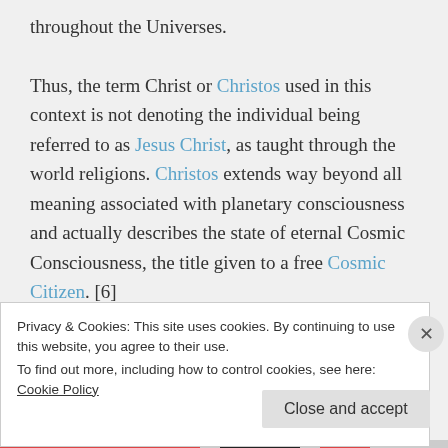throughout the Universes.
Thus, the term Christ or Christos used in this context is not denoting the individual being referred to as Jesus Christ, as taught through the world religions. Christos extends way beyond all meaning associated with planetary consciousness and actually describes the state of eternal Cosmic Consciousness, the title given to a free Cosmic Citizen. [6]
Privacy & Cookies: This site uses cookies. By continuing to use this website, you agree to their use.
To find out more, including how to control cookies, see here: Cookie Policy